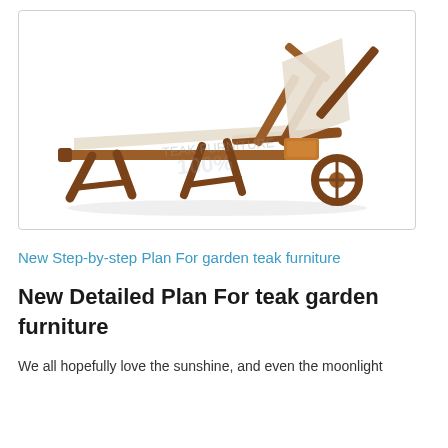[Figure (photo): A teak wood garden sun lounger/chaise lounge with cream/beige fabric sling, adjustable backrest raised at an angle, side tray, and two wheels at one end. The lounger is shown on a white background with a faint watermark.]
New Step-by-step Plan For garden teak furniture
New Detailed Plan For teak garden furniture
We all hopefully love the sunshine, and even the moonlight